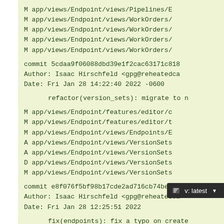M    app/views/Endpoint/views/Pipelines/E
M    app/views/Endpoint/views/WorkOrders/
M    app/views/Endpoint/views/WorkOrders/
M    app/views/Endpoint/views/WorkOrders/
M    app/views/Endpoint/views/WorkOrders/

commit 5cdaa9f06088dbd39e1f2cac63171c818
Author: Isaac Hirschfeld <gpg@reheatedca
Date:   Fri Jan 28 14:22:40 2022 -0600

    refactor(version_sets): migrate to n

M    app/views/Endpoint/features/editor/c
M    app/views/Endpoint/features/editor/t
M    app/views/Endpoint/views/Endpoints/E
A    app/views/Endpoint/views/VersionSets
A    app/views/Endpoint/views/VersionSets
D    app/views/Endpoint/views/VersionSets
M    app/views/Endpoint/views/VersionSets

commit e8f076f5bf98b17cde2ad716cb74be56d
Author: Isaac Hirschfeld <gpg@reheatedca
Date:   Fri Jan 28 12:25:51 2022

    fix(endpoints): fix a typo on create

M    app/views/Endpoint/views/Endpoints/C